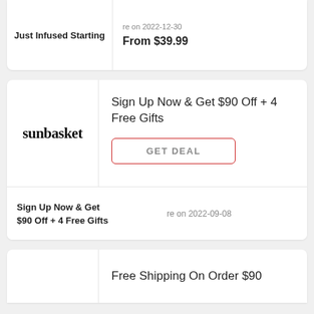Just Infused Starting
re on 2022-12-30
From $39.99
[Figure (logo): sunbasket logo in bold serif text]
Sign Up Now & Get $90 Off + 4 Free Gifts
GET DEAL
Sign Up Now & Get
$90 Off + 4 Free Gifts
re on 2022-09-08
Free Shipping On Order $90